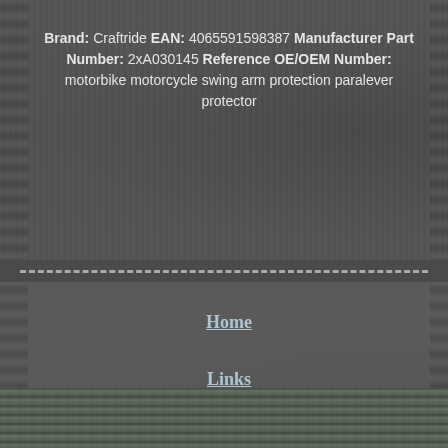Brand: Craftride EAN: 4065591598387 Manufacturer Part Number: 2xA030145 Reference OE/OEM Number: motorbike motorcycle swing arm protection paralever protector
Home
Links
Contact
Privacy Policy Agreement
Service Agreement